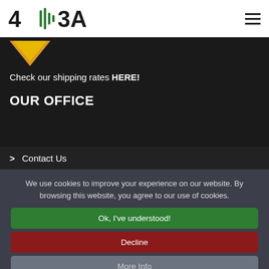[Figure (logo): 4|3A logo with green sound wave bars in the middle, black text]
Check our shipping rates HERE!
OUR OFFICE
> Contact Us
We use cookies to improve your experience on our website. By browsing this website, you agree to our use of cookies.
Ok, I've understood!
Decline
More Info